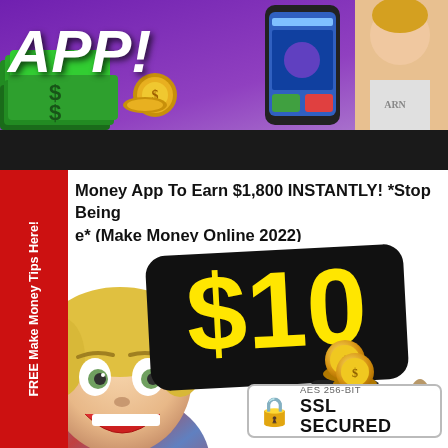[Figure (screenshot): Top banner showing 'APP!' text with money stacks, a phone, and a person in the upper right corner. Dark black bar below the image.]
Money App To Earn $1,800 INSTANTLY! *Stop Being e* (Make Money Online 2022)
[Figure (photo): Excited blond man with wide open eyes and mouth, wearing a plaid shirt, against white background. A large black rounded-rectangle badge with '$10' in large yellow text overlaid. Coins and a phone icon at bottom center. A money bag icon to the right.]
[Figure (other): SSL Secured badge with padlock icon, text 'AES 256-BIT' and 'SSL SECURED' in bold]
FREE Make Money Tips Here!